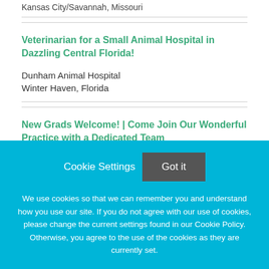Kansas City/Savannah, Missouri
Veterinarian for a Small Animal Hospital in Dazzling Central Florida!
Dunham Animal Hospital
Winter Haven, Florida
New Grads Welcome! | Come Join Our Wonderful Practice with a Dedicated Team
Cookie Settings  Got it
We use cookies so that we can remember you and understand how you use our site. If you do not agree with our use of cookies, please change the current settings found in our Cookie Policy. Otherwise, you agree to the use of the cookies as they are currently set.